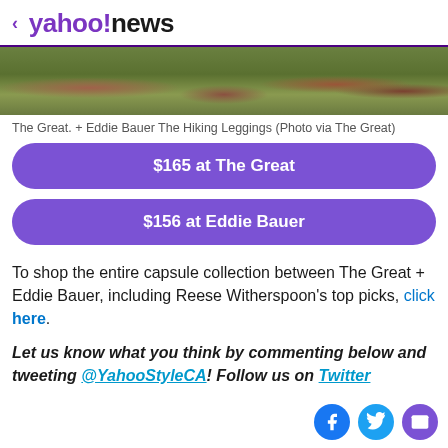< yahoo!news
[Figure (photo): Partial photo of hiking leggings worn outdoors on grass — The Great. + Eddie Bauer The Hiking Leggings]
The Great. + Eddie Bauer The Hiking Leggings (Photo via The Great)
$165 at The Great
$156 at Eddie Bauer
To shop the entire capsule collection between The Great + Eddie Bauer, including Reese Witherspoon's top picks, click here.
Let us know what you think by commenting below and tweeting @YahooStyleCA! Follow us on Twitter